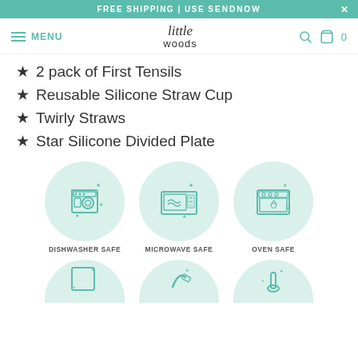FREE SHIPPING | USE SENDNOW
[Figure (screenshot): Navigation bar with hamburger menu, MENU text, Little Woods logo in center, search icon and cart with 0 items on right]
2 pack of First Tensils
Reusable Silicone Straw Cup
Twirly Straws
Star Silicone Divided Plate
[Figure (infographic): Three circular icons on mint green backgrounds: Dishwasher Safe (dishwasher icon), Microwave Safe (microwave icon), Oven Safe (oven icon) with decorative stars around each]
[Figure (infographic): Bottom row of three partially visible circular icons on mint green backgrounds (cropped at bottom of page)]